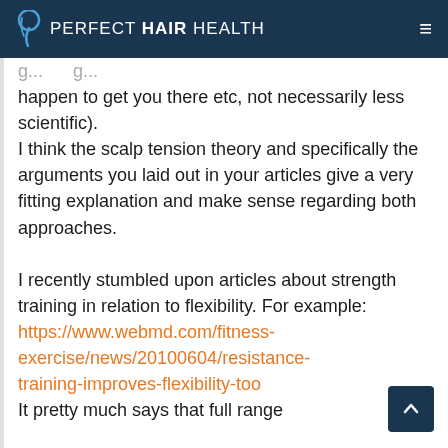PERFECT HAIR HEALTH
g...ng...
happen to get you there etc, not necessarily less scientific).
I think the scalp tension theory and specifically the arguments you laid out in your articles give a very fitting explanation and make sense regarding both approaches.

I recently stumbled upon articles about strength training in relation to flexibility. For example:
https://www.webmd.com/fitness-exercise/news/20100604/resistance-training-improves-flexibility-too
It pretty much says that full range...